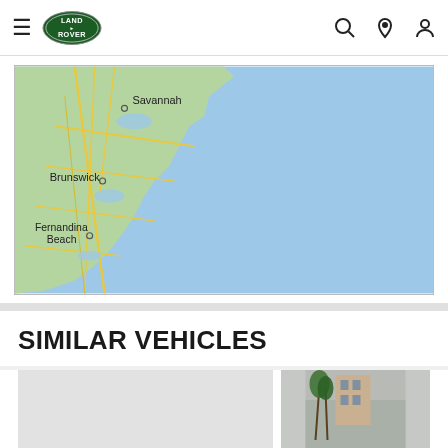Land Rover navigation header with hamburger menu, logo, search, location, and profile icons
[Figure (map): Google Maps view showing the coastal area of Georgia/Florida including Savannah, Brunswick, and Fernandina Beach with blue ocean to the right]
SIMILAR VEHICLES
[Figure (photo): Similar vehicle card - light grey placeholder]
[Figure (photo): Similar vehicle card - partial photo showing palm trees and building]